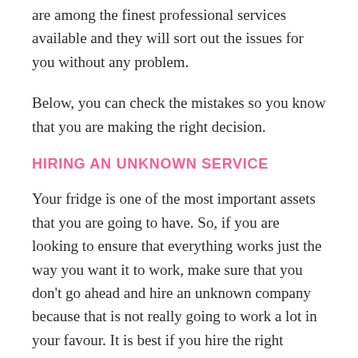are among the finest professional services available and they will sort out the issues for you without any problem.
Below, you can check the mistakes so you know that you are making the right decision.
HIRING AN UNKNOWN SERVICE
Your fridge is one of the most important assets that you are going to have. So, if you are looking to ensure that everything works just the way you want it to work, make sure that you don't go ahead and hire an unknown company because that is not really going to work a lot in your favour. It is best if you hire the right company because it will be much